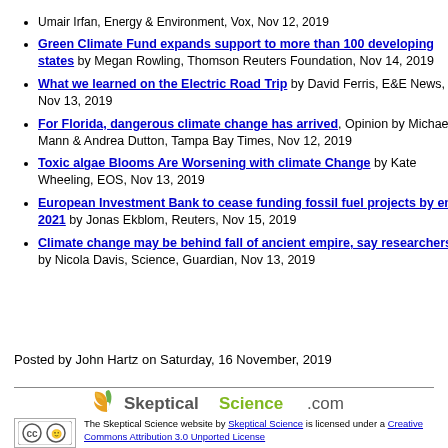Umair Irfan, Energy & Environment, Vox, Nov 12, 2019
Green Climate Fund expands support to more than 100 developing states by Megan Rowling, Thomson Reuters Foundation, Nov 14, 2019
What we learned on the Electric Road Trip by David Ferris, E&E News, Nov 13, 2019
For Florida, dangerous climate change has arrived, Opinion by Michael E Mann & Andrea Dutton, Tampa Bay Times, Nov 12, 2019
Toxic algae Blooms Are Worsening with climate Change by Kate Wheeling, EOS, Nov 13, 2019
European Investment Bank to cease funding fossil fuel projects by end-2021 by Jonas Ekblom, Reuters, Nov 15, 2019
Climate change may be behind fall of ancient empire, say researchers by Nicola Davis, Science, Guardian, Nov 13, 2019
Posted by John Hartz on Saturday, 16 November, 2019
[Figure (logo): Skeptical Science .com logo with green leaf icon]
The Skeptical Science website by Skeptical Science is licensed under a Creative Commons Attribution 3.0 Unported License